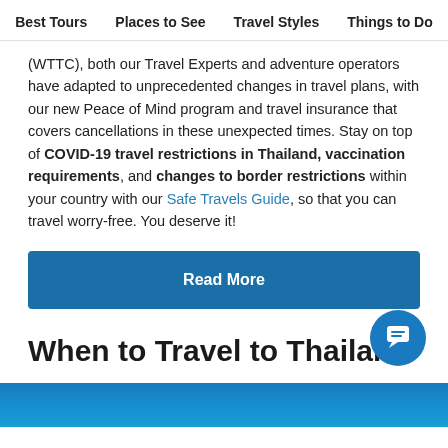Best Tours   Places to See   Travel Styles   Things to Do
(WTTC), both our Travel Experts and adventure operators have adapted to unprecedented changes in travel plans, with our new Peace of Mind program and travel insurance that covers cancellations in these unexpected times. Stay on top of COVID-19 travel restrictions in Thailand, vaccination requirements, and changes to border restrictions within your country with our Safe Travels Guide, so that you can travel worry-free. You deserve it!
Read More
When to Travel to Thailand
[Figure (photo): Bottom portion of a blue underwater or ocean-themed image]